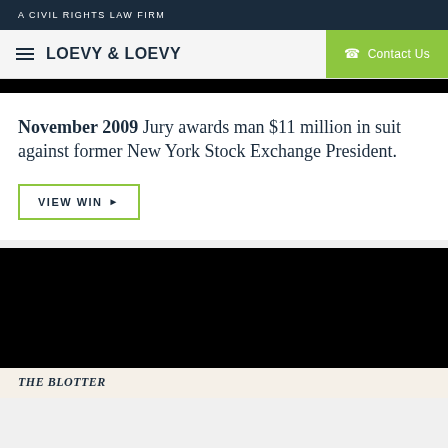A CIVIL RIGHTS LAW FIRM
LOEVY & LOEVY  Contact Us
November 2009 Jury awards man $11 million in suit against former New York Stock Exchange President.
VIEW WIN ▶
[Figure (photo): Black image strip / photo placeholder at bottom of page]
THE BLOTTER